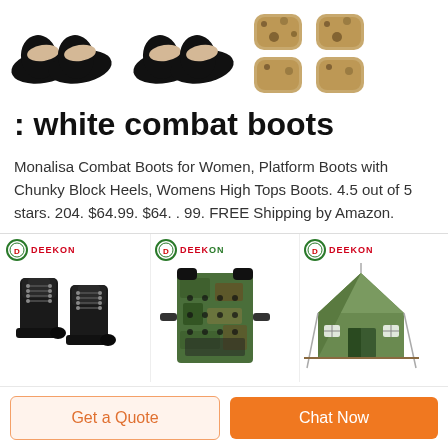[Figure (photo): Three groups of product images at top: two pairs of black ballet flats/shoes and one set of camouflage knee pads]
: white combat boots
Monalisa Combat Boots for Women, Platform Boots with Chunky Block Heels, Womens High Tops Boots. 4.5 out of 5 stars. 204. $64.99. $64. . 99. FREE Shipping by Amazon.
[Figure (photo): DEEKON branded black military boots]
[Figure (photo): DEEKON branded camouflage tactical vest/body armor]
[Figure (photo): DEEKON branded olive green military tent]